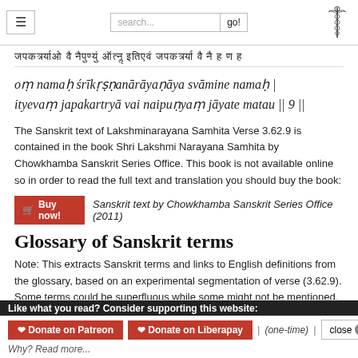Navigation header with hamburger menu, search bar, go button, and caduceus logo
Sanskrit Devanagari text line
oṃ namaḥ śrīkṛṣṇanārāyaṇāya svāmine namaḥ | ityevaṃ japakartryā vai naipuṇyaṃ jāyate matau || 9 ||
The Sanskrit text of Lakshminarayana Samhita Verse 3.62.9 is contained in the book Shri Lakshmi Narayana Samhita by Chowkhamba Sanskrit Series Office. This book is not available online so in order to read the full text and translation you should buy the book:
Buy now! Sanskrit text by Chowkhamba Sanskrit Series Office (2011)
Glossary of Sanskrit terms
Note: This extracts Sanskrit terms and links to English definitions from the glossary, based on an experimental segmentation of verse (3.62.9). Some terms could be superfluous while some might not be mentioned. Click on the word to show English
Like what you read? Consider supporting this website: Donate on Patreon | Donate on Liberapay | (one-time) | close × Why? Read more...